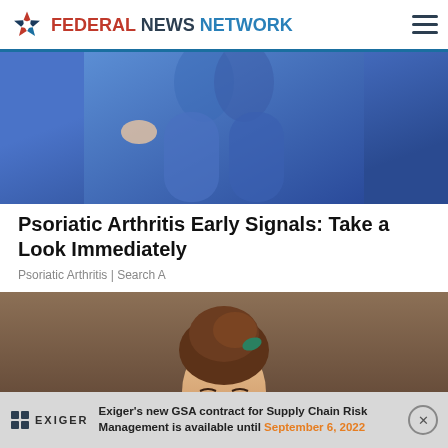FEDERAL NEWS NETWORK
[Figure (photo): Close-up of person wearing blue spandex athletic shorts/pants, advertisement image]
Psoriatic Arthritis Early Signals: Take a Look Immediately
Psoriatic Arthritis | Search A
[Figure (photo): Portrait of a woman with brown upswept hair and a green hair accessory, looking slightly upward, colorized vintage-style photo, with a mute/speaker-off icon overlay in the top left corner]
[Figure (infographic): Advertisement banner for Exiger showing logo and text: Exiger's new GSA contract for Supply Chain Risk Management is available until September 6, 2022]